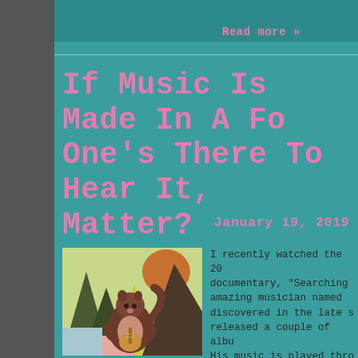Read more »
If Music Is Made In A Fo- One's There To Hear It, Does It Matter?
January 19, 2019
[Figure (illustration): Colorful collage illustration of a squirrel or rodent playing a stringed instrument, surrounded by abstract tree-like shapes in green, yellow, and earthy tones.]
I recently watched the 20 documentary, "Searching amazing musician named discovered in the late s released a couple of albu His music is played thro found it to be beautiful